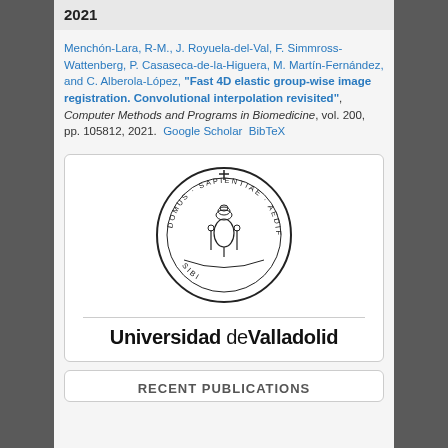2021
Menchón-Lara, R-M., J. Royuela-del-Val, F. Simmross-Wattenberg, P. Casaseca-de-la-Higuera, M. Martín-Fernández, and C. Alberola-López, "Fast 4D elastic group-wise image registration. Convolutional interpolation revisited", Computer Methods and Programs in Biomedicine, vol. 200, pp. 105812, 2021. Google Scholar BibTeX
[Figure (logo): Universidad de Valladolid seal/crest logo with circular text: DOMUS SAPIENTIAE AEDIFICAVIT SIBI, with a tree and papal symbols in the center]
Universidad de Valladolid
RECENT PUBLICATIONS